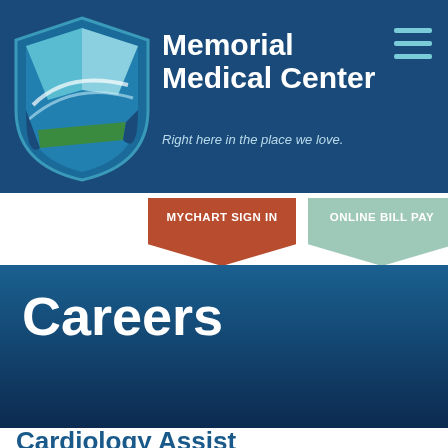[Figure (logo): Memorial Medical Center shield logo with blue, teal, and green geometric shapes]
Memorial Medical Center
Right here in the place we love.
[Figure (other): Hamburger menu icon with three horizontal teal lines]
MYCHART SIGN IN
ONLINE BILL PAY
Careers
Cardiology Assist...